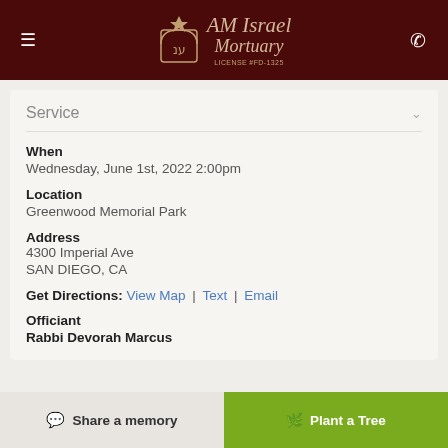AM Israel Mortuary — LICENSE #FD-1325
Service
When
Wednesday, June 1st, 2022 2:00pm
Location
Greenwood Memorial Park
Address
4300 Imperial Ave
SAN DIEGO, CA
Get Directions: View Map | Text | Email
Officiant
Rabbi Devorah Marcus
Share a memory
Plant a Tree